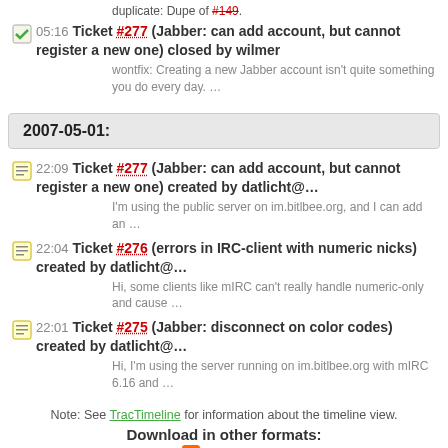duplicate: Dupe of #149.
05:16 Ticket #277 (Jabber: can add account, but cannot register a new one) closed by wilmer
wontfix: Creating a new Jabber account isn't quite something you do every day. …
2007-05-01:
22:09 Ticket #277 (Jabber: can add account, but cannot register a new one) created by datlicht@…
I'm using the public server on im.bitlbee.org, and I can add an …
22:04 Ticket #276 (errors in IRC-client with numeric nicks) created by datlicht@…
Hi, some clients like mIRC can't really handle numeric-only and cause …
22:01 Ticket #275 (Jabber: disconnect on color codes) created by datlicht@…
Hi, I'm using the server running on im.bitlbee.org with mIRC 6.16 and …
Note: See TracTimeline for information about the timeline view.
Download in other formats:
RSS Feed
Powered by Trac 1.2 By Edgewall Software. BitBee: An IRC to other chat networks gateway